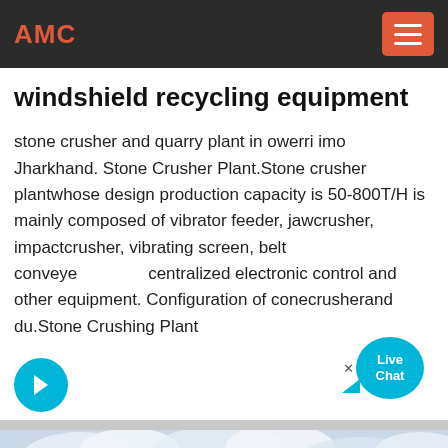AMC
windshield recycling equipment
stone crusher and quarry plant in owerri imo Jharkhand. Stone Crusher Plant.Stone crusher plantwhose design production capacity is 50-800T/H is mainly composed of vibrator feeder, jawcrusher, impactcrusher, vibrating screen, belt conveyer, centralized electronic control and other equipment. Configuration of conecrusherand du.Stone Crushing Plant
[Figure (other): Cyan circular arrow button (next/forward icon)]
[Figure (photo): Outdoor photo with cloudy sky and industrial equipment silhouette at bottom]